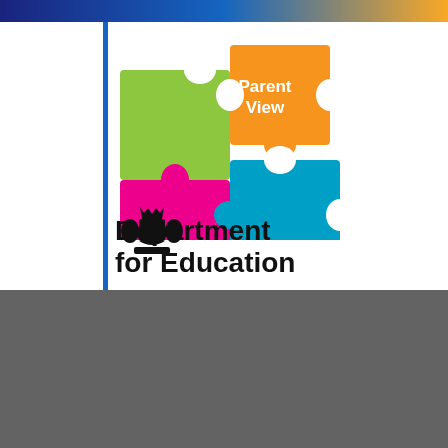[Figure (logo): Parent View puzzle logo with colored puzzle pieces: green, orange (with 'Parent View' text), pink, and blue]
[Figure (logo): UK Government Royal Coat of Arms crest above 'Department for Education' text with blue vertical bar]
Department for Education
[Figure (logo): Coldfall Primary School logo: circular text around a tree with an owl, olive/gold color]